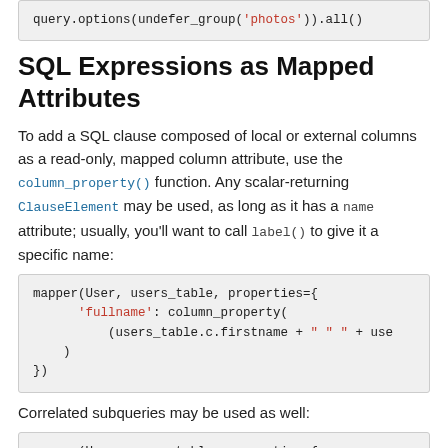[Figure (screenshot): Code block showing: query.options(undefer_group('photos')).all()]
SQL Expressions as Mapped Attributes
To add a SQL clause composed of local or external columns as a read-only, mapped column attribute, use the column_property() function. Any scalar-returning ClauseElement may be used, as long as it has a name attribute; usually, you'll want to call label() to give it a specific name:
[Figure (screenshot): Code block showing: mapper(User, users_table, properties={
    'fullname': column_property(
        (users_table.c.firstname + " " + use
    )
})]
Correlated subqueries may be used as well:
[Figure (screenshot): Code block showing: mapper(User, users_table, properties={
    'address_count': column_property(
        select(]